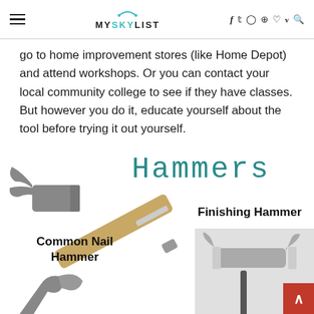MYSKYLIST — navigation header with hamburger menu and social icons
go to home improvement stores (like Home Depot) and attend workshops. Or you can contact your local community college to see if they have classes. But however you do it, educate yourself about the tool before trying it out yourself.
[Figure (illustration): Section header image showing the word 'Hammers' in teal monospace font alongside a claw hammer photo labeled 'Common Nail Hammer' and a finishing hammer photo labeled 'Finishing Hammer', with another hammer partially visible at bottom-left.]
Common Nail Hammer
Finishing Hammer